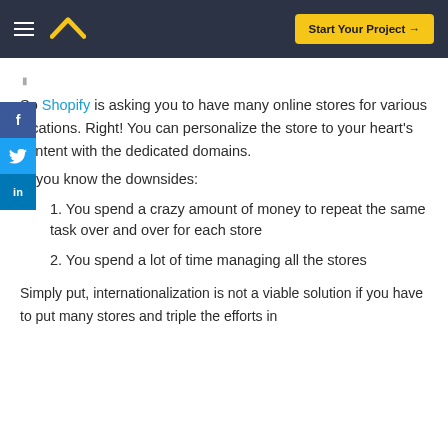Start Your Project →
So Shopify is asking you to have many online stores for various locations. Right! You can personalize the store to your heart's content with the dedicated domains.
But you know the downsides:
1. You spend a crazy amount of money to repeat the same task over and over for each store
2. You spend a lot of time managing all the stores
Simply put, internationalization is not a viable solution if you have to put many stores and triple the efforts in